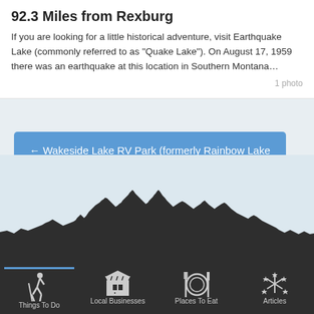92.3 Miles from Rexburg
If you are looking for a little historical adventure, visit Earthquake Lake (commonly referred to as "Quake Lake"). On August 17, 1959 there was an earthquake at this location in Southern Montana…
1 photo
← Wakeside Lake RV Park (formerly Rainbow Lake RV Park)
Market Lake Wildlife Management Area →
[Figure (illustration): Mountain silhouette landscape in dark gray/black against light blue-gray background]
Things To Do | Local Businesses | Places To Eat | Articles